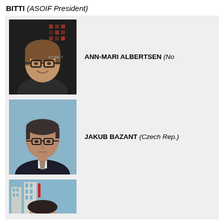BITTI (ASOIF President)
[Figure (photo): Headshot of Ann-Mari Albertsen, a woman with glasses and short brown hair, smiling, in front of a dark background with a logo.]
ANN-MARI ALBERTSEN (No
[Figure (photo): Headshot of Jakub Bazant, a man with glasses wearing a dark suit and patterned tie, in front of a light blue background.]
JAKUB BAZANT (Czech Rep.)
[Figure (photo): Partial headshot of a third person outdoors with city buildings in the background.]